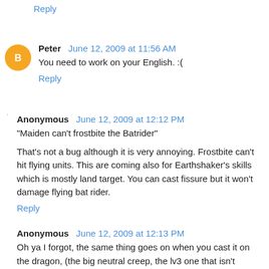Reply
Peter  June 12, 2009 at 11:56 AM
You need to work on your English. :(
Reply
Anonymous  June 12, 2009 at 12:12 PM
"Maiden can't frostbite the Batrider"
That's not a bug although it is very annoying. Frostbite can't hit flying units. This are coming also for Earthshaker's skills which is mostly land target. You can cast fissure but it won't damage flying bat rider.
Reply
Anonymous  June 12, 2009 at 12:13 PM
Oh ya I forgot, the same thing goes on when you cast it on the dragon, (the big neutral creep, the lv3 one that isn't